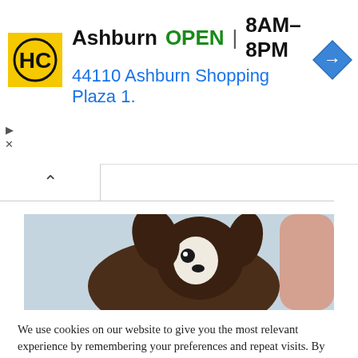[Figure (screenshot): HC (Homechoice) store ad banner showing logo, Ashburn location, OPEN status 8AM-8PM, address 44110 Ashburn Shopping Plaza 1., and navigation arrow icon]
We use cookies on our website to give you the most relevant experience by remembering your preferences and repeat visits. By clicking “Accept”, you consent to the use of ALL the cookies.
Do not sell my personal information.
Cookie Settings
Accept